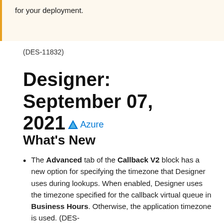for your deployment.
(DES-11832)
Designer: September 07, 2021 Azure
What's New
The Advanced tab of the Callback V2 block has a new option for specifying the timezone that Designer uses during lookups. When enabled, Designer uses the timezone specified for the callback virtual queue in Business Hours. Otherwise, the application timezone is used. (DES-